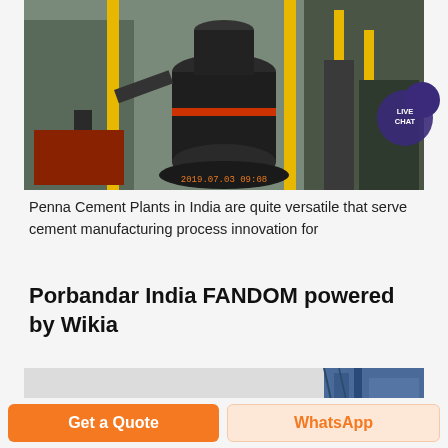[Figure (photo): Industrial cement plant machinery — large cylindrical grinding mill in dark metal, yellow structural columns, pipes, and industrial equipment in background. Timestamp visible in orange: 2019.07.03 09:08]
Penna Cement Plants in India are quite versatile that serve cement manufacturing process innovation for
Porbandar India FANDOM powered by Wikia
[Figure (photo): Industrial facility photo showing a blue steel structure/tower on the right side with overcast sky background.]
Get a Quote
WhatsApp